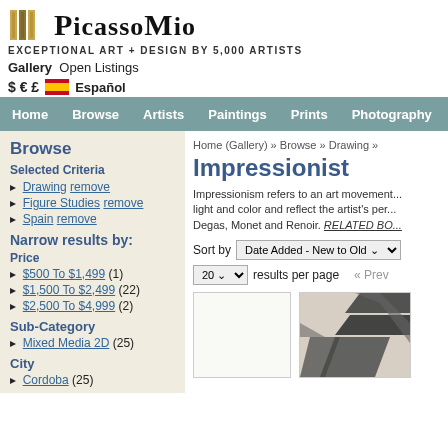PicassoMio — EXCEPTIONAL ART + DESIGN BY 5,000 ARTISTS
Gallery  Open Listings
$ € £  🇪🇸 Español
Home  Browse  Artists  Paintings  Prints  Photography
Browse
Selected Criteria
Drawing remove
Figure Studies remove
Spain remove
Narrow results by:
Price
$500 To $1,499 (1)
$1,500 To $2,499 (22)
$2,500 To $4,999 (2)
Sub-Category
Mixed Media 2D (25)
City
Cordoba (25)
Home (Gallery) » Browse » Drawing »
Impressionist
Impressionism refers to an art movement... light and color and reflect the artist's pe... Degas, Monet and Renoir. RELATED BO...
Sort by  Date Added - New to Old
20  results per page  « Prev
[Figure (photo): Blank white thumbnail placeholder]
[Figure (photo): Abstract drawing with dark diagonal stripes/ribbons]